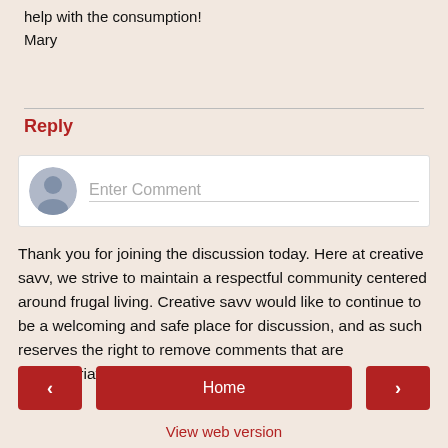help with the consumption!
Mary
Reply
[Figure (other): Comment input box with avatar icon and placeholder text 'Enter Comment']
Thank you for joining the discussion today. Here at creative savv, we strive to maintain a respectful community centered around frugal living. Creative savv would like to continue to be a welcoming and safe place for discussion, and as such reserves the right to remove comments that are inappropriate for the conversation.
< Home > View web version